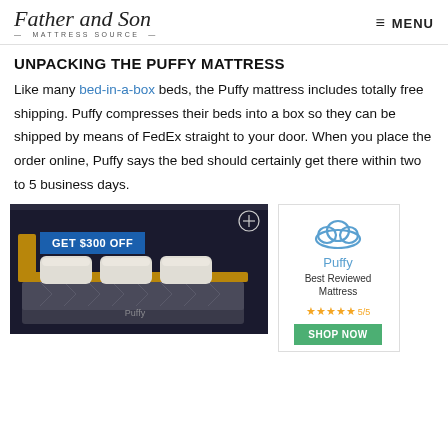Father and Son MATTRESS SOURCE — MENU
UNPACKING THE PUFFY MATTRESS
Like many bed-in-a-box beds, the Puffy mattress includes totally free shipping. Puffy compresses their beds into a box so they can be shipped by means of FedEx straight to your door. When you place the order online, Puffy says the bed should certainly get there within two to 5 business days.
[Figure (photo): Puffy mattress on a bed frame with a blue promotional banner reading GET $300 OFF]
[Figure (logo): Puffy brand advertisement with cloud logo, 'Best Reviewed Mattress', 5-star rating (5/5), and green SHOP NOW button]